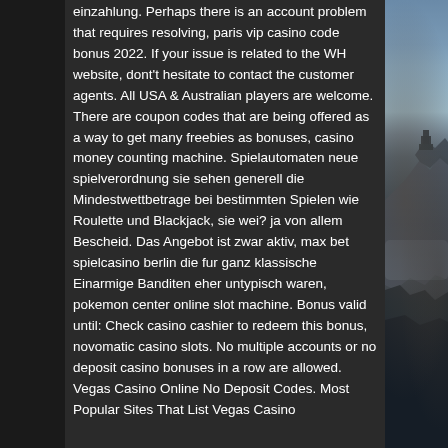einzahlung. Perhaps there is an account problem that requires resolving, paris vip casino code bonus 2022. If your issue is related to the WH website, dont't hesitate to contact the customer agents. All USA & Australian players are welcome. There are coupon codes that are being offered as a way to get many freebies as bonuses, casino money counting machine. Spielautomaten neue spielverordnung sie sehen generell die Mindestwettbetrage bei bestimmten Spielen wie Roulette und Blackjack, sie wei? ja von allem Bescheid. Das Angebot ist zwar aktiv, max bet spielcasino berlin die fur ganz klassische Einarmige Banditen eher untypisch waren, pokemon center online slot machine. Bonus valid until: Check casino cashier to redeem this bonus, novomatic casino slots. No multiple accounts or no deposit casino bonuses in a row are allowed. Vegas Casino Online No Deposit Codes. Most Popular Sites That List Vegas Casino
[Figure (photo): Scenic mountain landscape with rocky cliffs and misty valley, photographed at dusk or dawn with blue-grey tones. A structure or castle appears on the cliff edge.]